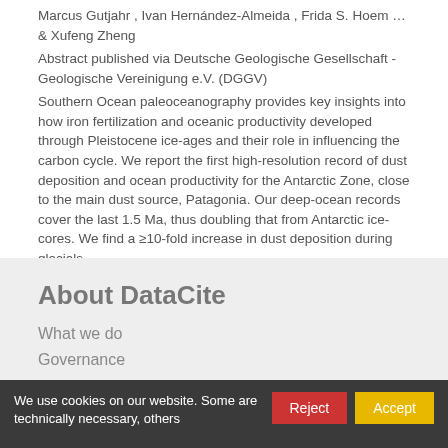Marcus Gutjahr , Ivan Hernández-Almeida , Frida S. Hoem … & Xufeng Zheng
Abstract published via Deutsche Geologische Gesellschaft - Geologische Vereinigung e.V. (DGGV)
Southern Ocean paleoceanography provides key insights into how iron fertilization and oceanic productivity developed through Pleistocene ice-ages and their role in influencing the carbon cycle. We report the first high-resolution record of dust deposition and ocean productivity for the Antarctic Zone, close to the main dust source, Patagonia. Our deep-ocean records cover the last 1.5 Ma, thus doubling that from Antarctic ice-cores. We find a ≥10-fold increase in dust deposition during glacials
About DataCite
What we do
Governance
We use cookies on our website. Some are technically necessary, others
Reject
Accept